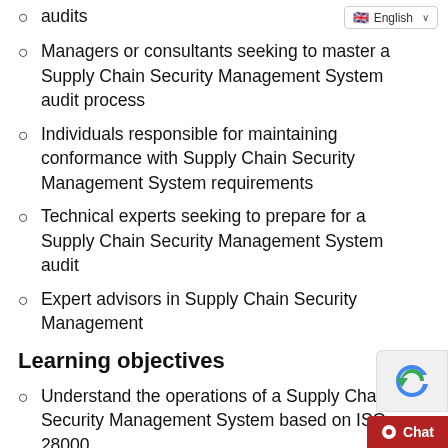audits
[Figure (screenshot): Language selector dropdown showing English with UK flag]
Managers or consultants seeking to master a Supply Chain Security Management System audit process
Individuals responsible for maintaining conformance with Supply Chain Security Management System requirements
Technical experts seeking to prepare for a Supply Chain Security Management System audit
Expert advisors in Supply Chain Security Management
Learning objectives
Understand the operations of a Supply Chain Security Management System based on ISO 28000
Acknowledge the correlation between ISO 28000 and other standards and regulatory frameworks
Understand an auditor's role to: plan, lead and follow